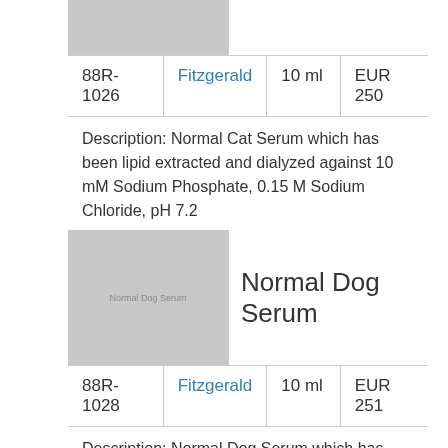| ID | Supplier | Size | Price |
| --- | --- | --- | --- |
| 88R-1026 | Fitzgerald | 10 ml | EUR 250 |
Description: Normal Cat Serum which has been lipid extracted and dialyzed against 10 mM Sodium Phosphate, 0.15 M Sodium Chloride, pH 7.2
[Figure (photo): Placeholder image for Normal Dog Serum product]
Normal Dog Serum
| ID | Supplier | Size | Price |
| --- | --- | --- | --- |
| 88R-1028 | Fitzgerald | 10 ml | EUR 251 |
Description: Normal Dog Serum which has been lipid extracted and dialyzed against 10 mM Sodium Phosphate, 0.15 M Sodium